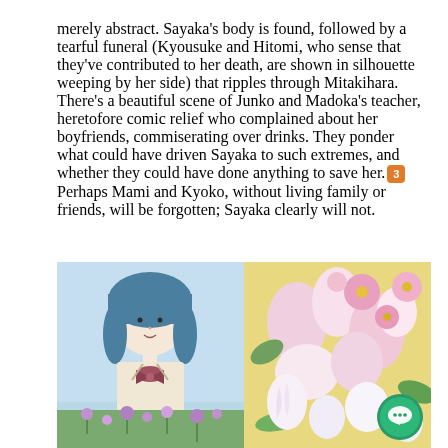merely abstract. Sayaka's body is found, followed by a tearful funeral (Kyousuke and Hitomi, who sense that they've contributed to her death, are shown in silhouette weeping by her side) that ripples through Mitakihara. There's a beautiful scene of Junko and Madoka's teacher, heretofore comic relief who complained about her boyfriends, commiserating over drinks. They ponder what could have driven Sayaka to such extremes, and whether they could have done anything to save her.[3] Perhaps Mami and Kyoko, without living family or friends, will be forgotten; Sayaka clearly will not.
[Figure (photo): Left half: anime-style illustration of a girl (Sayaka) in school uniform with a bow, flowers at bottom. Right half: real photograph of pink and yellow flowers (lilies, daisies, chrysanthemums).]